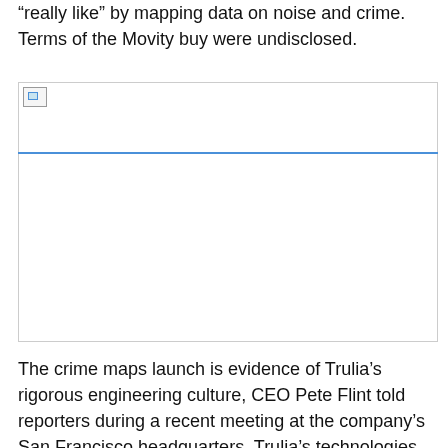“really like” by mapping data on noise and crime. Terms of the Movity buy were undisclosed.
[Figure (photo): A broken/unloaded image placeholder with a hyperlink underline below it, indicating an image that failed to load in the original document.]
The crime maps launch is evidence of Trulia’s rigorous engineering culture, CEO Pete Flint told reporters during a recent meeting at the company’s San Francisco headquarters. Trulia’s technologies are all developed by the company’s in-house U.S.-based engineering team, he